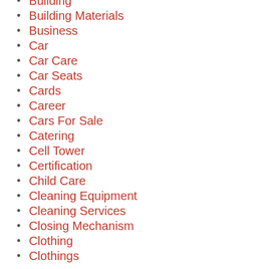Building
Building Materials
Business
Car
Car Care
Car Seats
Cards
Career
Cars For Sale
Catering
Cell Tower
Certification
Child Care
Cleaning Equipment
Cleaning Services
Closing Mechanism
Clothing
Clothings